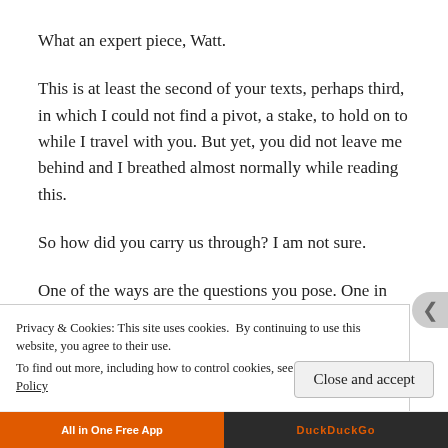What an expert piece, Watt.
This is at least the second of your texts, perhaps third, in which I could not find a pivot, a stake, to hold on to while I travel with you. But yet, you did not leave me behind and I breathed almost normally while reading this.
So how did you carry us through? I am not sure.
One of the ways are the questions you pose. One in the first paragraph: a rhetorical question which you answer. Two in the second. Each question mark grabs my attention. The
Privacy & Cookies: This site uses cookies. By continuing to use this website, you agree to their use.
To find out more, including how to control cookies, see here: Cookie Policy
Close and accept
All in One Free App
DuckDuckGo